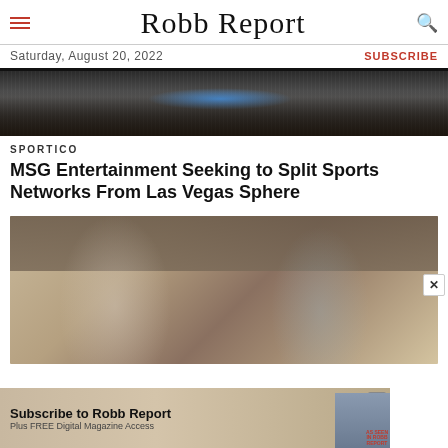Robb Report
Saturday, August 20, 2022
SUBSCRIBE
[Figure (photo): Aerial view of a crowded sports arena with basketball court visible]
SPORTICO
MSG Entertainment Seeking to Split Sports Networks From Las Vegas Sphere
[Figure (photo): Two people posing together in front of a shelf with Emmy award trophies and decorative items]
[Figure (other): Advertisement banner: Subscribe to Robb Report – Plus FREE Digital Magazine Access, AS SEEN IN ROBB REPORT]